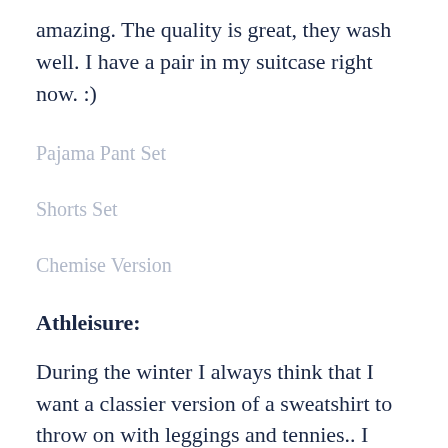amazing. The quality is great, they wash well. I have a pair in my suitcase right now. :)
Pajama Pant Set
Shorts Set
Chemise Version
Athleisure:
During the winter I always think that I want a classier version of a sweatshirt to throw on with leggings and tennies.. I couldn't have ordered this quick enough. I especially like that